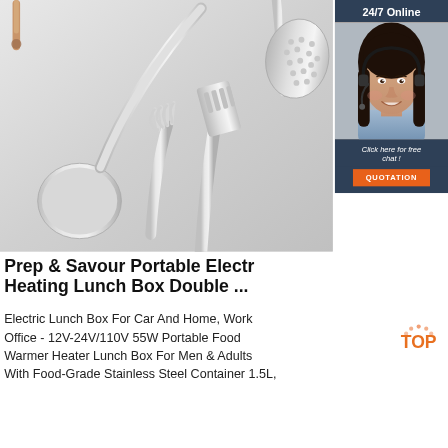[Figure (photo): Kitchen utensils — spoons, slotted spatula, ladle with holes, pasta fork — laid flat on a light gray background. A wooden-handled item visible at top left.]
[Figure (photo): Customer service agent — a smiling woman with dark hair wearing a headset and light blue shirt, shown from shoulders up.]
24/7 Online
Click here for free chat !
QUOTATION
Prep & Savour Portable Electr Heating Lunch Box Double ...
Electric Lunch Box For Car And Home, Work Office - 12V-24V/110V 55W Portable Food Warmer Heater Lunch Box For Men & Adults With Food-Grade Stainless Steel Container 1.5L,